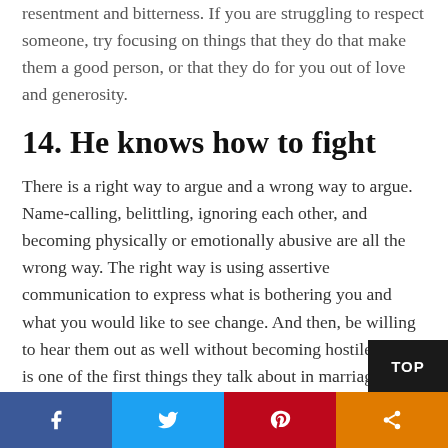resentment and bitterness. If you are struggling to respect someone, try focusing on things that they do that make them a good person, or that they do for you out of love and generosity.
14. He knows how to fight
There is a right way to argue and a wrong way to argue. Name-calling, belittling, ignoring each other, and becoming physically or emotionally abusive are all the wrong way. The right way is using assertive communication to express what is bothering you and what you would like to see change. And then, be willing to hear them out as well without becoming hostile. This is one of the first things they talk about in marriage therapy!
15. You can trust him with anythi